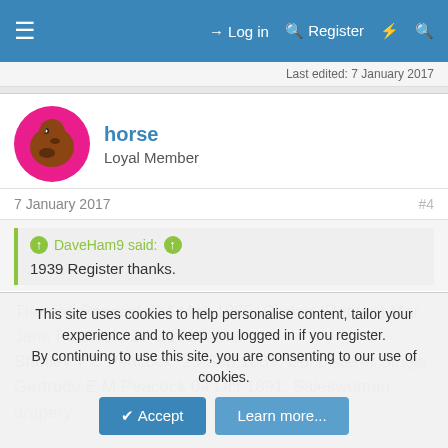≡  Log in  Register  ⚡  🔍
Last edited: 7 January 2017
horse
Loyal Member
7 January 2017  #4
DaveHam9 said: ↑
1939 Register thanks.
Thomas Peacock. 04 May 1865. Clicker (Retired) Mar
Jane Peacock. 27 ? 1916. Mar
Stanley T C Peacock. 23 Sep 1889. Upholsterer Single
Gertrude E M Peacock 04 Oct 1891. Saleswoman drapery
This site uses cookies to help personalise content, tailor your experience and to keep you logged in if you register.
By continuing to use this site, you are consenting to our use of cookies.
Accept  Learn more...